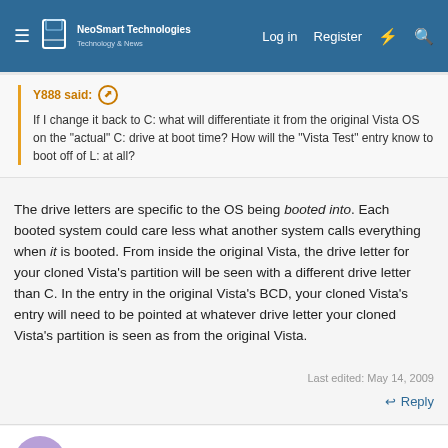NeoSmart Technologies — Log in | Register
Y888 said: ↑
If I change it back to C: what will differentiate it from the original Vista OS on the "actual" C: drive at boot time? How will the "Vista Test" entry know to boot off of L: at all?
The drive letters are specific to the OS being booted into. Each booted system could care less what another system calls everything when it is booted. From inside the original Vista, the drive letter for your cloned Vista's partition will be seen with a different drive letter than C. In the entry in the original Vista's BCD, your cloned Vista's entry will need to be pointed at whatever drive letter your cloned Vista's partition is seen as from the original Vista.
Last edited: May 14, 2009
↩ Reply
Y888
Active Member